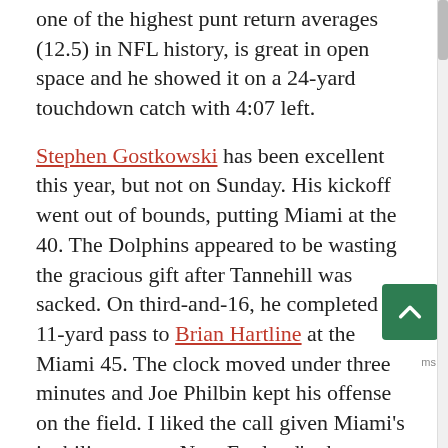one of the highest punt return averages (12.5) in NFL history, is great in open space and he showed it on a 24-yard touchdown catch with 4:07 left.
Stephen Gostkowski has been excellent this year, but not on Sunday. His kickoff went out of bounds, putting Miami at the 40. The Dolphins appeared to be wasting the gracious gift after Tannehill was sacked. On third-and-16, he completed an 11-yard pass to Brian Hartline at the Miami 45. The clock moved under three minutes and Joe Philbin kept his offense on the field. I liked the call given Miami's inability to stop New England's short passing attack (due in part to injuries among the Miami defensive backs). Often a team will call timeout to set a play like this up, but Miami went to the line and got it done.
The execution was far from perfect. Tight end Charles Clay motioned out wide. Tannehill showed